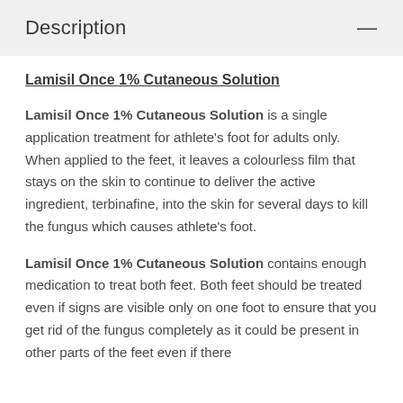Description
Lamisil Once 1% Cutaneous Solution
Lamisil Once 1% Cutaneous Solution is a single application treatment for athlete’s foot for adults only. When applied to the feet, it leaves a colourless film that stays on the skin to continue to deliver the active ingredient, terbinafine, into the skin for several days to kill the fungus which causes athlete’s foot.
Lamisil Once 1% Cutaneous Solution contains enough medication to treat both feet. Both feet should be treated even if signs are visible only on one foot to ensure that you get rid of the fungus completely as it could be present in other parts of the feet even if there